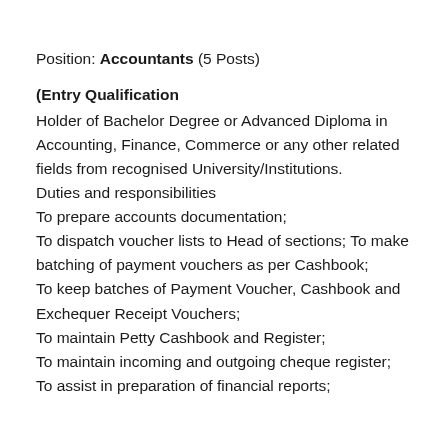Position: Accountants (5 Posts)
(Entry Qualification
Holder of Bachelor Degree or Advanced Diploma in Accounting, Finance, Commerce or any other related fields from recognised University/Institutions.
Duties and responsibilities
To prepare accounts documentation;
To dispatch voucher lists to Head of sections; To make batching of payment vouchers as per Cashbook;
To keep batches of Payment Voucher, Cashbook and Exchequer Receipt Vouchers;
To maintain Petty Cashbook and Register;
To maintain incoming and outgoing cheque register;
To assist in preparation of financial reports;